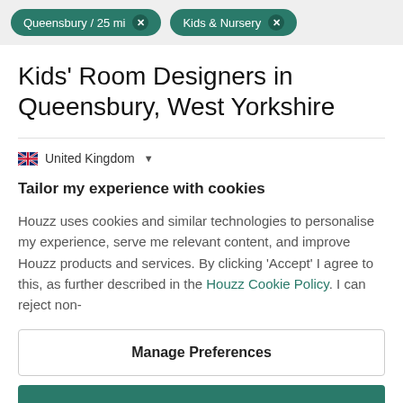Queensbury / 25 mi  ×    Kids & Nursery  ×
Kids' Room Designers in Queensbury, West Yorkshire
United Kingdom
Tailor my experience with cookies
Houzz uses cookies and similar technologies to personalise my experience, serve me relevant content, and improve Houzz products and services. By clicking 'Accept' I agree to this, as further described in the Houzz Cookie Policy. I can reject non-
Manage Preferences
Accept